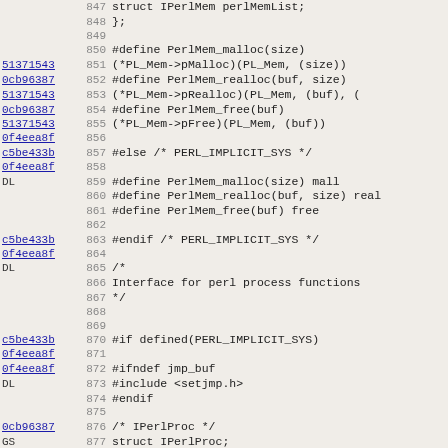[Figure (screenshot): Source code diff viewer showing C/Perl header file lines 847-878 with git commit hashes in the left column, line numbers in the second column, and code content on the right. Languages: C preprocessor macros and struct definitions for Perl memory and process interfaces.]